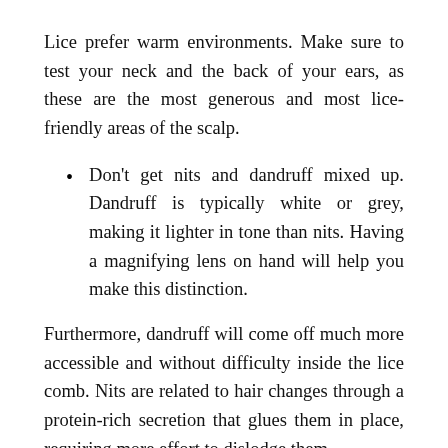Lice prefer warm environments. Make sure to test your neck and the back of your ears, as these are the most generous and most lice-friendly areas of the scalp.
Don't get nits and dandruff mixed up. Dandruff is typically white or grey, making it lighter in tone than nits. Having a magnifying lens on hand will help you make this distinction.
Furthermore, dandruff will come off much more accessible and without difficulty inside the lice comb. Nits are related to hair changes through a protein-rich secretion that glues them in place, requiring more effort to dislodge them.